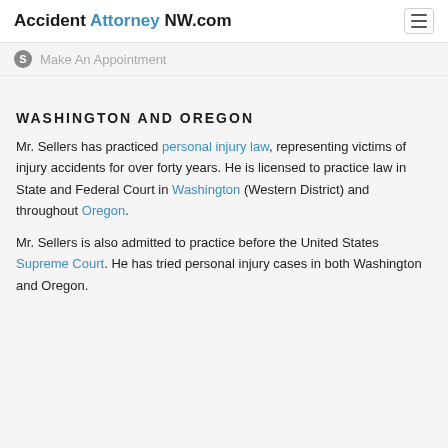Accident Attorney NW.com
Make An Appointment
WASHINGTON AND OREGON
Mr. Sellers has practiced personal injury law, representing victims of injury accidents for over forty years. He is licensed to practice law in State and Federal Court in Washington (Western District) and throughout Oregon.
Mr. Sellers is also admitted to practice before the United States Supreme Court. He has tried personal injury cases in both Washington and Oregon.